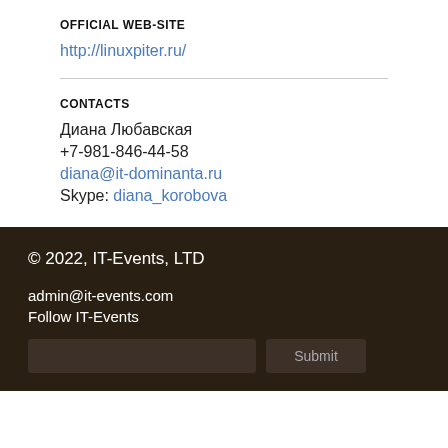OFFICIAL WEB-SITE
http://linuxpiter.ru/
CONTACTS
Диана Любавская
+7-981-846-44-58
diana@it-dominanta.ru
Skype: diana_korobova
© 2022, IT-Events, LTD
admin@it-events.com
Follow IT-Events